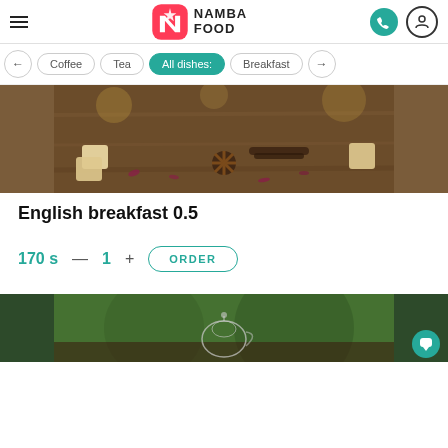Namba Food — navigation header with logo, hamburger menu, phone icon, user icon
Coffee
Tea
All dishes:
Breakfast
[Figure (photo): Top food photo: tea ingredients, star anise, sugar cubes, dried flowers on wooden table]
English breakfast 0.5
170 s  —  1  +  ORDER
[Figure (photo): Bottom food photo: green blurred background with glass tea pot on wooden table]